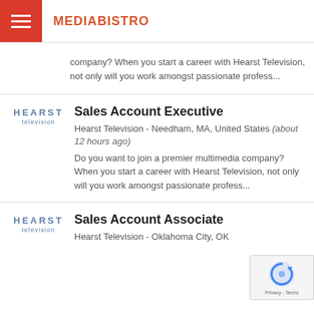MEDIABISTRO
company? When you start a career with Hearst Television, not only will you work amongst passionate profess...
Sales Account Executive
Hearst Television - Needham, MA, United States (about 12 hours ago)
Do you want to join a premier multimedia company? When you start a career with Hearst Television, not only will you work amongst passionate profess...
Sales Account Associate
Hearst Television - Oklahoma City, OK